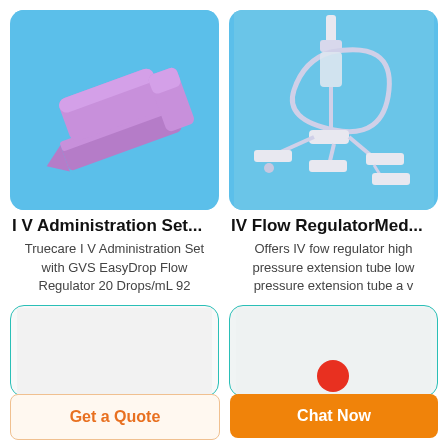[Figure (photo): Purple IV administration set clip/flow regulator on blue background]
[Figure (photo): IV flow regulator medical device with tubes and connectors on blue background]
I V Administration Set...
Truecare I V Administration Set with GVS EasyDrop Flow Regulator 20 Drops/mL 92
IV Flow RegulatorMed...
Offers IV fow regulator high pressure extension tube low pressure extension tube a v
[Figure (photo): Partial bottom product card left - light background]
[Figure (photo): Partial bottom product card right - light background with red element]
Get a Quote
Chat Now